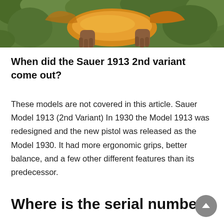[Figure (photo): Top portion of a photo showing a person holding a large fish, with green foliage in the background. Only the bottom portion of the image is visible.]
When did the Sauer 1913 2nd variant come out?
These models are not covered in this article. Sauer Model 1913 (2nd Variant) In 1930 the Model 1913 was redesigned and the new pistol was released as the Model 1930. It had more ergonomic grips, better balance, and a few other different features than its predecessor.
Where is the serial number